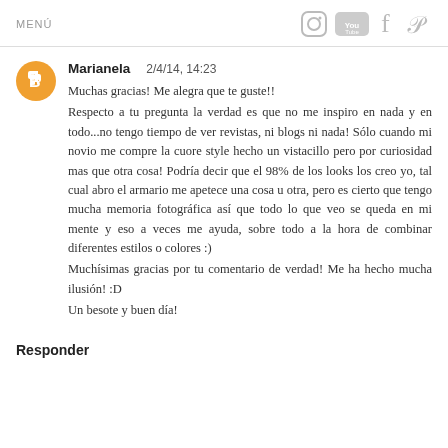MENÚ
Marianela   2/4/14, 14:23
Muchas gracias! Me alegra que te guste!!
Respecto a tu pregunta la verdad es que no me inspiro en nada y en todo...no tengo tiempo de ver revistas, ni blogs ni nada! Sólo cuando mi novio me compre la cuore style hecho un vistacillo pero por curiosidad mas que otra cosa! Podría decir que el 98% de los looks los creo yo, tal cual abro el armario me apetece una cosa u otra, pero es cierto que tengo mucha memoria fotográfica así que todo lo que veo se queda en mi mente y eso a veces me ayuda, sobre todo a la hora de combinar diferentes estilos o colores :)
Muchísimas gracias por tu comentario de verdad! Me ha hecho mucha ilusión! :D
Un besote y buen día!
Responder